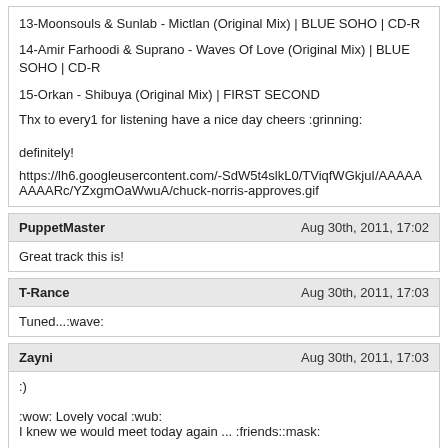13-Moonsouls & Sunlab - Mictlan (Original Mix) | BLUE SOHO | CD-R
14-Amir Farhoodi & Suprano - Waves Of Love (Original Mix) | BLUE SOHO | CD-R
15-Orkan - Shibuya (Original Mix) | FIRST SECOND
Thx to every1 for listening have a nice day cheers :grinning:
definitely!
https://lh6.googleusercontent.com/-SdW5t4slkL0/TViqfWGkjuI/AAAAAAAAARc/YZxgmOaWwuA/chuck-norris-approves.gif
PuppetMaster — Aug 30th, 2011, 17:02
Great track this is!
T-Rance — Aug 30th, 2011, 17:03
Tuned...:wave:
Zayni — Aug 30th, 2011, 17:03
:)
:wow: Lovely vocal :wub:
I knew we would meet today again ... :friends::mask:
Hey there TeroA! :hug: